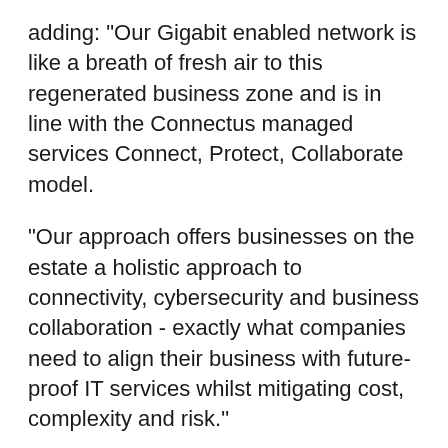adding: "Our Gigabit enabled network is like a breath of fresh air to this regenerated business zone and is in line with the Connectus managed services Connect, Protect, Collaborate model.
"Our approach offers businesses on the estate a holistic approach to connectivity, cybersecurity and business collaboration - exactly what companies need to align their business with future-proof IT services whilst mitigating cost, complexity and risk."
Connectus is also broadband provider to Hythe, a state-of-the-art sustainable business hub, on which construction commenced in December 2020. The 25,000 square feet Hythe building is the first speculative commercial office development in